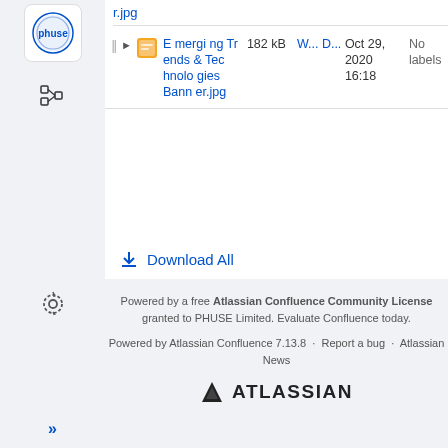[Figure (screenshot): PHUSE logo in sidebar - circular blue/white logo with 'phuse' text]
[Figure (screenshot): File tree/hierarchy icon in sidebar]
r.jpg
|  | Name | Size | Creator | Date | Labels |
| --- | --- | --- | --- | --- | --- |
| ▶ | Emerging Trends & Technologies Banner.jpg | 182 kB | W... D... | Oct 29, 2020 16:18 | No labels |
Download All
Powered by a free Atlassian Confluence Community License granted to PHUSE Limited. Evaluate Confluence today.
Powered by Atlassian Confluence 7.13.8 · Report a bug · Atlassian News
[Figure (logo): Atlassian logo - triangle icon with ATLASSIAN text]